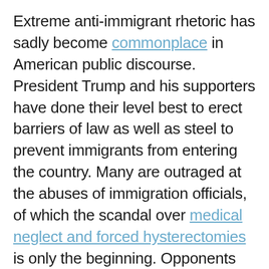Extreme anti-immigrant rhetoric has sadly become commonplace in American public discourse. President Trump and his supporters have done their level best to erect barriers of law as well as steel to prevent immigrants from entering the country. Many are outraged at the abuses of immigration officials, of which the scandal over medical neglect and forced hysterectomies is only the beginning. Opponents point to the fact that the United States is a nation of immigrants; they cry that this rhetoric does not represent not who we are. The truth is that anti-immigrant sentiment has been a festering cancer in American public discourse for generations. Anti-immigrant interest groups have long taken action to preserve a dominant ethnic makeup. Their goal